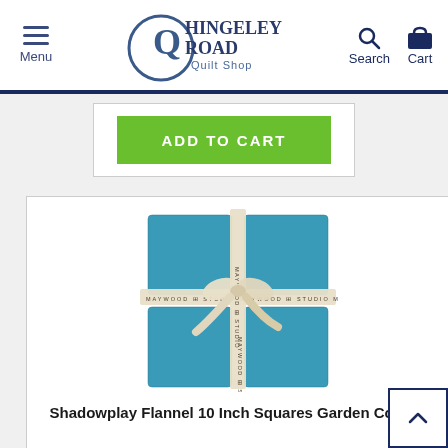Menu | Hingeley Road Quilt Shop | Search | Cart
[Figure (screenshot): Green ADD TO CART button inside a white bordered box]
[Figure (photo): Teal/blue Maywood Studio fabric squares bundle tied with a branded ribbon bow]
Shadowplay Flannel 10 Inch Squares Garden Colors,